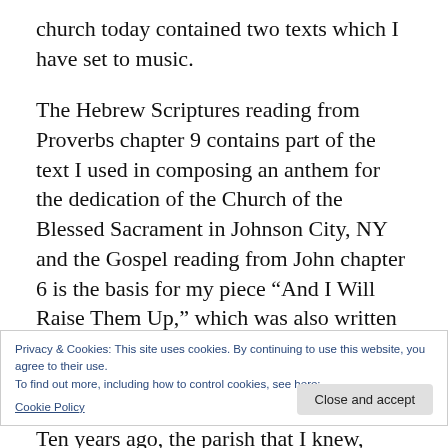church today contained two texts which I have set to music.
The Hebrew Scriptures reading from Proverbs chapter 9 contains part of the text I used in composing an anthem for the dedication of the Church of the Blessed Sacrament in Johnson City, NY and the Gospel reading from John chapter 6 is the basis for my piece “And I Will Raise Them Up,” which was also written for the choir at Blessed Sacrament.
Privacy & Cookies: This site uses cookies. By continuing to use this website, you agree to their use.
To find out more, including how to control cookies, see here: Cookie Policy
Ten years ago, the parish that I knew, loved,